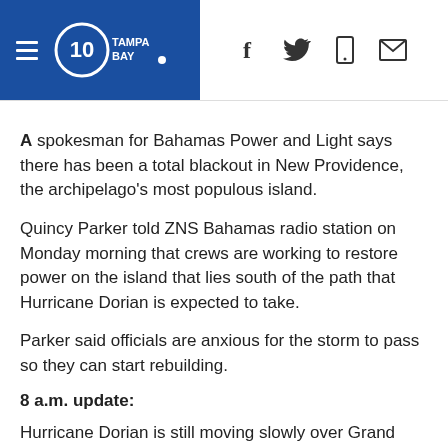10 Tampa Bay — navigation header with social icons
A spokesman for Bahamas Power and Light says there has been a total blackout in New Providence, the archipelago's most populous island.
Quincy Parker told ZNS Bahamas radio station on Monday morning that crews are working to restore power on the island that lies south of the path that Hurricane Dorian is expected to take.
Parker said officials are anxious for the storm to pass so they can start rebuilding.
8 a.m. update:
Hurricane Dorian is still moving slowly over Grand Bahama, according to the NHC's latest advisory. The Category 5 storm is moving west at 1 mph with a minimum central pressure of 916 mb.
Maximum sustained winds remain at 165 mph.